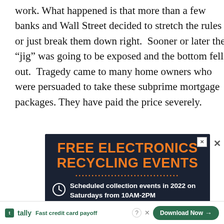work. What happened is that more than a few banks and Wall Street decided to stretch the rules or just break them down right. Sooner or later the “jig” was going to be exposed and the bottom fell out. Tragedy came to many home owners who were persuaded to take these subprime mortgage packages. They have paid the price severely.
[Figure (infographic): Advertisement banner with dark navy background. Orange bold text reads 'FREE ELECTRONICS RECYCLING EVENTS'. Orange dotted line separator. White bold text with clock icon: 'Scheduled collection events in 2022 on Saturdays from 10AM-2PM'. Close X button in top right corner.]
[Figure (infographic): Tally app advertisement bar at bottom. Green Tally logo on left with text 'Fast credit card payoff'. Right side shows help icon, X close, and green 'Download Now' button with arrow.]